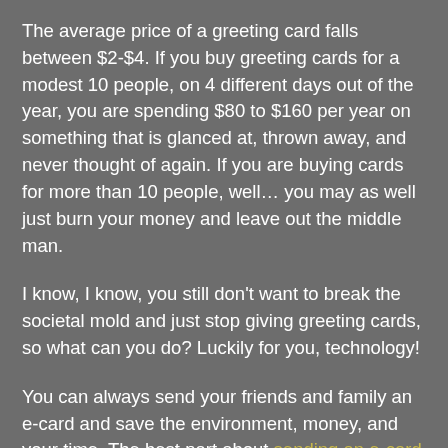The average price of a greeting card falls between $2-$4. If you buy greeting cards for a modest 10 people, on 4 different days out of the year, you are spending $80 to $160 per year on something that is glanced at, thrown away, and never thought of again. If you are buying cards for more than 10 people, well… you may as well just burn your money and leave out the middle man.
I know, I know, you still don't want to break the societal mold and just stop giving greeting cards, so what can you do? Luckily for you, technology!
You can always send your friends and family an e-card and save the environment, money, and your time. The best part about sending an e-card is that they are usually free. Even Hallmark, the almighty Baron of Greeting Cards, offers unlimited e-cards for only $1 per